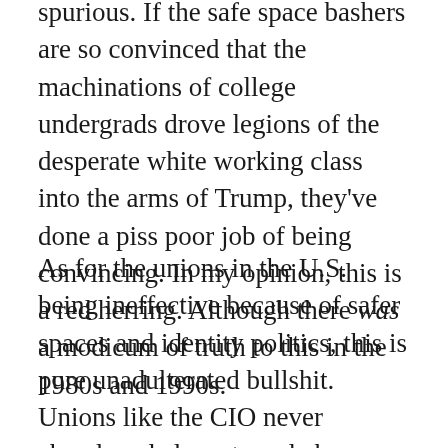spurious. If the safe space bashers are so convinced that the machinations of college undergrads drove legions of the desperate white working class into the arms of Trump, they've done a piss poor job of being convincing. In my opinion, this is a red herring. Although there was a modicum of truth to this in the 1980s and 1990s.
As for the unions in the U.S. being ineffective because of safer spaces and identity politics, this is pure unadulterated bullshit. Unions like the CIO never abandoned class struggle because they were class collaborators from their inception (the AFL even more so). The